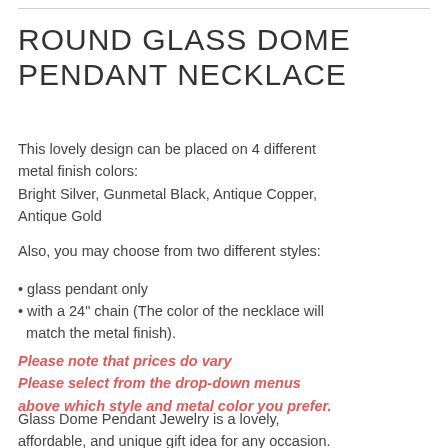ROUND GLASS DOME PENDANT NECKLACE
This lovely design can be placed on 4 different metal finish colors:
Bright Silver, Gunmetal Black, Antique Copper, Antique Gold
Also, you may choose from two different styles:
• glass pendant only
• with a 24" chain (The color of the necklace will match the metal finish).
Please note that prices do vary
Please select from the drop-down menus above which style and metal color you prefer.
Glass Dome Pendant Jewelry is a lovely, affordable, and unique gift idea for any occasion. The raised dome pops up the printed image